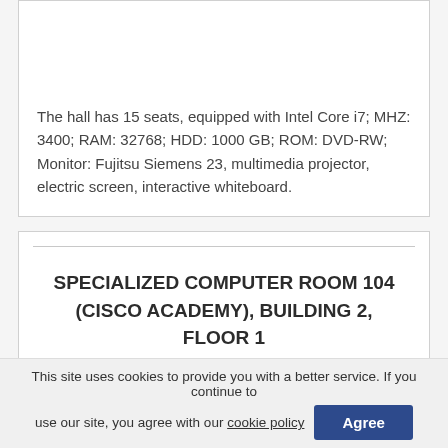The hall has 15 seats, equipped with Intel Core i7; MHZ: 3400; RAM: 32768; HDD: 1000 GB; ROM: DVD-RW; Monitor: Fujitsu Siemens 23, multimedia projector, electric screen, interactive whiteboard.
SPECIALIZED COMPUTER ROOM 104 (CISCO ACADEMY), BUILDING 2, FLOOR 1
This site uses cookies to provide you with a better service. If you continue to use our site, you agree with our cookie policy